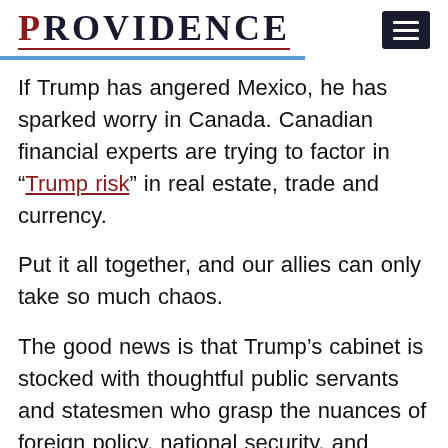PROVIDENCE
If Trump has angered Mexico, he has sparked worry in Canada. Canadian financial experts are trying to factor in “Trump risk” in real estate, trade and currency.
Put it all together, and our allies can only take so much chaos.
The good news is that Trump’s cabinet is stocked with thoughtful public servants and statesmen who grasp the nuances of foreign policy, national security, and intelligence. Let us hope and pray they can quarantine the chaos, for as President Kennedy observed, “Domestic policy can only defeat